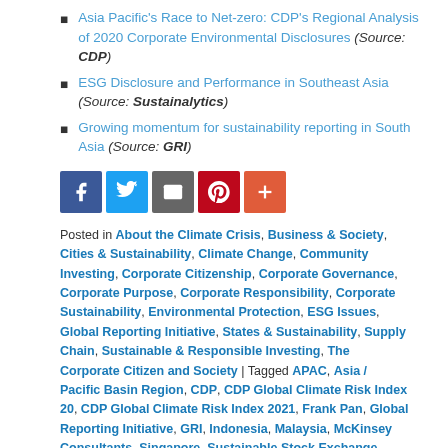Asia Pacific's Race to Net-zero: CDP's Regional Analysis of 2020 Corporate Environmental Disclosures (Source: CDP)
ESG Disclosure and Performance in Southeast Asia (Source: Sustainalytics)
Growing momentum for sustainability reporting in South Asia (Source: GRI)
[Figure (other): Social sharing buttons: Facebook, Twitter, Email, Pinterest, Plus]
Posted in About the Climate Crisis, Business & Society, Cities & Sustainability, Climate Change, Community Investing, Corporate Citizenship, Corporate Governance, Corporate Purpose, Corporate Responsibility, Corporate Sustainability, Environmental Protection, ESG Issues, Global Reporting Initiative, States & Sustainability, Supply Chain, Sustainable & Responsible Investing, The Corporate Citizen and Society | Tagged APAC, Asia / Pacific Basin Region, CDP, CDP Global Climate Risk Index 20, CDP Global Climate Risk Index 2021, Frank Pan, Global Reporting Initiative, GRI, Indonesia, Malaysia, McKinsey Consultants, Singapore, Sustainable Stock Exchange Initiative, Sustainalytics, TCFD, Thailand, The Philippines